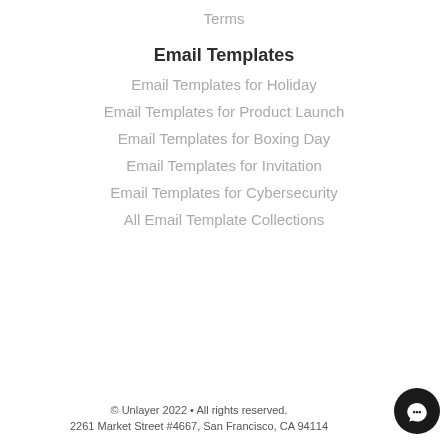Terms
Email Templates
Email Templates for Holiday
Email Templates for Product Launch
Email Templates for Boxing Day
Email Templates for Invitation
Email Templates for Cybersecurity
All Email Template Collections
© Unlayer 2022 • All rights reserved.
2261 Market Street #4667, San Francisco, CA 94114